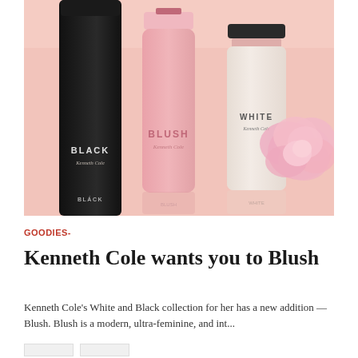[Figure (photo): Three Kenneth Cole fragrance bottles — Black (dark bottle), Blush (pink bottle), and White (cream bottle with pink flower) — arranged on a pink background with a large pink peony flower.]
GOODIES-
Kenneth Cole wants you to Blush
Kenneth Cole's White and Black collection for her has a new addition — Blush. Blush is a modern, ultra-feminine, and int...